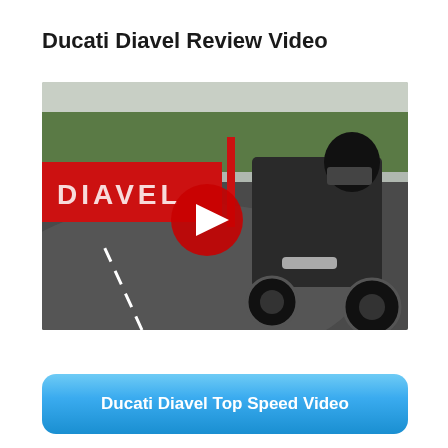Ducati Diavel Review Video
[Figure (screenshot): Ducati Diavel motorcycle on a racetrack road with a red barrier reading DIAVEL in the background; a YouTube play button overlay in the center]
Ducati Diavel Top Speed Video